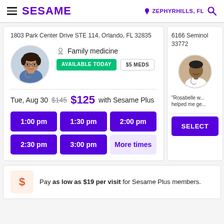SESAME — ZEPHYRHILLS, FL
1803 Park Center Drive STE 114, Orlando, FL 32835
Family medicine
AVAILABLE TODAY   $5 MEDS
Tue, Aug 30   $145   $125 with Sesame Plus
1:00 pm
1:30 pm
2:00 pm
2:30 pm
3:00 pm
More times
6166 Seminol... 33772
"Rosabelle w... helped me ge...
SELECT
Pay as low as $19 per visit for Sesame Plus members.